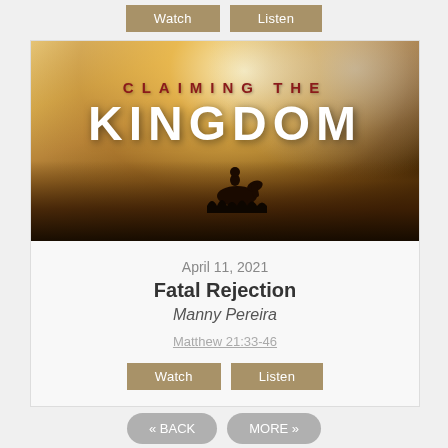[Figure (screenshot): Partial view of Watch and Listen buttons from a previous sermon card above]
[Figure (photo): Sermon series banner image for 'Claiming the Kingdom' — dramatic sky with golden light, cloudy background, silhouette of a person on horseback against a dark foreground. Text overlay reads 'CLAIMING THE KINGDOM' in bold uppercase letters.]
April 11, 2021
Fatal Rejection
Manny Pereira
Matthew 21:33-46
[Figure (screenshot): Watch and Listen buttons for the Fatal Rejection sermon]
[Figure (screenshot): « BACK and MORE » navigation buttons at the bottom of the page]